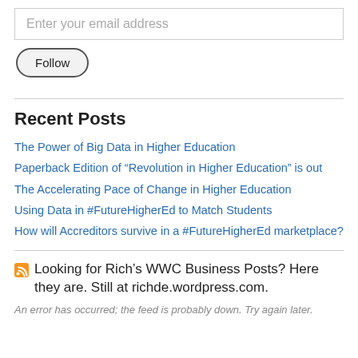Enter your email address
Follow
Recent Posts
The Power of Big Data in Higher Education
Paperback Edition of “Revolution in Higher Education” is out
The Accelerating Pace of Change in Higher Education
Using Data in #FutureHigherEd to Match Students
How will Accreditors survive in a #FutureHigherEd marketplace?
Looking for Rich’s WWC Business Posts? Here they are. Still at richde.wordpress.com.
An error has occurred; the feed is probably down. Try again later.